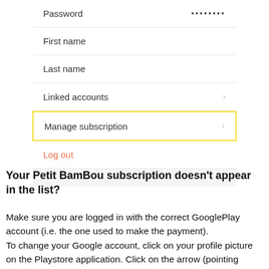[Figure (screenshot): Mobile app settings screen showing menu items: Password (with dots), First name, Last name, Linked accounts (with chevron), Manage subscription (highlighted with yellow border, with chevron), and Log out (in orange/red color)]
Your Petit BamBou subscription doesn't appear in the list?
Make sure you are logged in with the correct GooglePlay account (i.e. the one used to make the payment).
To change your Google account, click on your profile picture on the Playstore application. Click on the arrow (pointing...